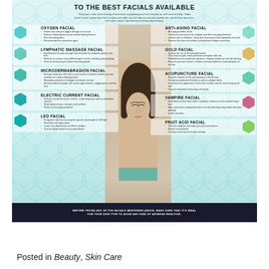TO THE BEST FACIALS AVAILABLE
There was a time when having a facial meant just getting your face cleaned up, and not much else. Today there is more variety than ever, as spas each offer so more than just remove expired skin and dirt from your face. Let's take a look at the best facials being offered today.
[Figure (infographic): Infographic showing 9 types of facials (Oxygen Facial, Lymphatic Massage Facial, Microdermabrasion Facial, Electric Current Facial, LED Facial on the left; Anti-Aging Facial, Gold Facial, Acupuncture Facial, Vampire Facial, Fruit Acid Facial on the right) surrounding a central portrait photo of a woman with hands under chin. Each facial type has bullet points and a hexagonal thumbnail image.]
BEFORE TRYING ANY OF THE FACIALS MENTIONED ABOVE, MAKE SURE THAT IT'S IDEAL FOR YOUR SKIN TYPE TO AVOID ANY KIND OF ADVERSE REACTION.
Posted in Beauty, Skin Care